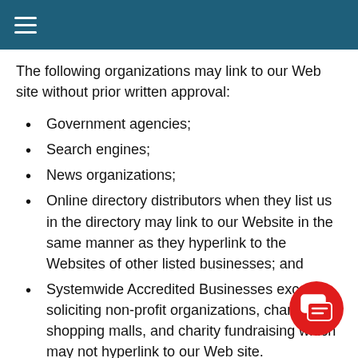The following organizations may link to our Web site without prior written approval:
Government agencies;
Search engines;
News organizations;
Online directory distributors when they list us in the directory may link to our Website in the same manner as they hyperlink to the Websites of other listed businesses; and
Systemwide Accredited Businesses except soliciting non-profit organizations, charity shopping malls, and charity fundraising which may not hyperlink to our Web site.
These organizations may link to our home page, to